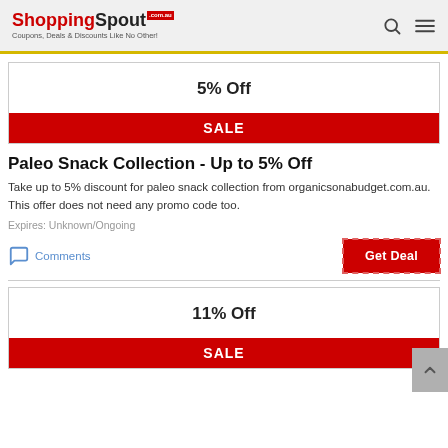ShoppingSpout.com.au — Coupons, Deals & Discounts Like No Other!
5% Off
SALE
Paleo Snack Collection - Up to 5% Off
Take up to 5% discount for paleo snack collection from organicsonabudget.com.au. This offer does not need any promo code too.
Expires: Unknown/Ongoing
Comments
Get Deal
11% Off
SALE